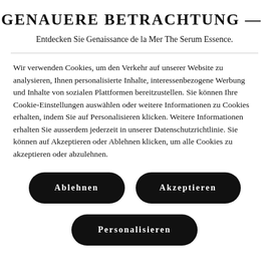GENAUERE BETRACHTUNG —
Entdecken Sie Genaissance de la Mer The Serum Essence.
Wir verwenden Cookies, um den Verkehr auf unserer Website zu analysieren, Ihnen personalisierte Inhalte, interessenbezogene Werbung und Inhalte von sozialen Plattformen bereitzustellen. Sie können Ihre Cookie-Einstellungen auswählen oder weitere Informationen zu Cookies erhalten, indem Sie auf Personalisieren klicken. Weitere Informationen erhalten Sie ausserdem jederzeit in unserer Datenschutzrichtlinie. Sie können auf Akzeptieren oder Ablehnen klicken, um alle Cookies zu akzeptieren oder abzulehnen.
Ablehnen
Akzeptieren
Personalisieren